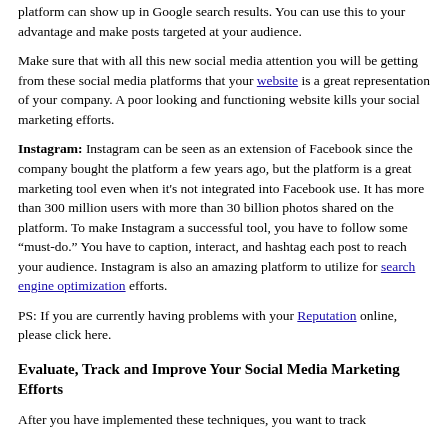platform can show up in Google search results. You can use this to your advantage and make posts targeted at your audience.
Make sure that with all this new social media attention you will be getting from these social media platforms that your website is a great representation of your company. A poor looking and functioning website kills your social marketing efforts.
Instagram: Instagram can be seen as an extension of Facebook since the company bought the platform a few years ago, but the platform is a great marketing tool even when it’s not integrated into Facebook use. It has more than 300 million users with more than 30 billion photos shared on the platform. To make Instagram a successful tool, you have to follow some “must-do.” You have to caption, interact, and hashtag each post to reach your audience. Instagram is also an amazing platform to utilize for search engine optimization efforts.
PS: If you are currently having problems with your Reputation online, please click here.
Evaluate, Track and Improve Your Social Media Marketing Efforts
After you have implemented these techniques, you want to track